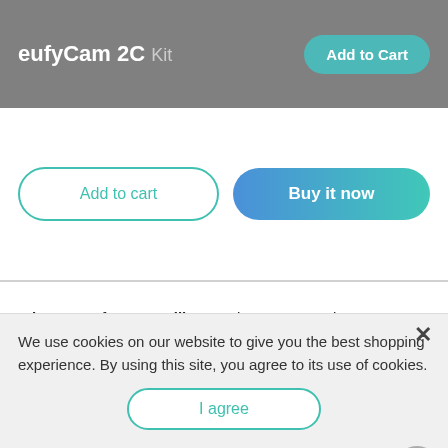eufyCam 2C — Add to Cart
[Figure (screenshot): Two action buttons: 'Add to cart' outline button and 'Buy it now' gradient button]
Picture Perfect Surveillance: Live-stream and record footage in crystal clear 1080p HD. The 135° diagonal field of view allows you to see exactly what is happening in and around your home.
Half-Year Security from 1 Charge: Avoid frequent trips to...
We use cookies on our website to give you the best shopping experience. By using this site, you agree to its use of cookies.
I agree